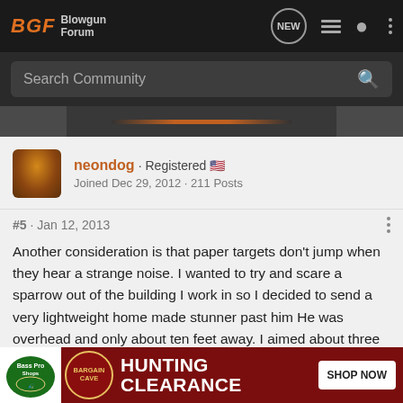BGF Blowgun Forum
Search Community
[Figure (screenshot): Partial image strip showing a dark image with an orange-brown gradient bar in center]
neondog · Registered
Joined Dec 29, 2012 · 211 Posts
#5 · Jan 12, 2013
Another consideration is that paper targets don't jump when they hear a strange noise. I wanted to try and scare a sparrow out of the building I work in so I decided to send a very lightweight home made stunner past him He was overhead and only about ten feet away. I aimed about three inches in front of him so he'd be sure and see it. He never saw it coming. I had to carry hi
[Figure (screenshot): Bass Pro Shops ad banner: Bargain Cave Hunting Clearance Shop Now]